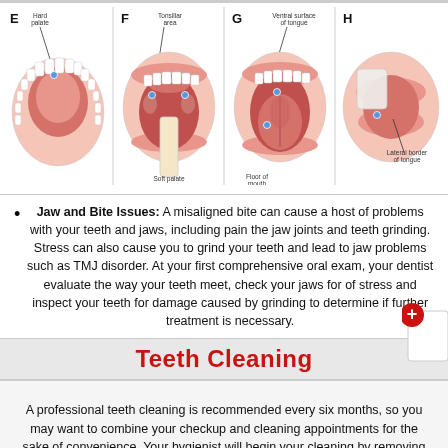[Figure (illustration): Four dental/oral anatomy illustrations labeled E, F, G, H showing: E - Hard palate (view from below of upper teeth and palate), F - Tonsillar area and Soft palate (open mouth with tongue depressor showing tonsil area), G - Ventral surface of tongue and Floor of mouth (open mouth showing underside of tongue), H - Lateral border of tongue (side view of tongue being examined with cloth)]
Jaw and Bite Issues: A misaligned bite can cause a host of problems with your teeth and jaws, including pain the jaw joints and teeth grinding. Stress can also cause you to grind your teeth and lead to jaw problems such as TMJ disorder. At your first comprehensive oral exam, your dentist evaluate the way your teeth meet, check your jaws for of stress and inspect your teeth for damage caused by grinding to determine if further treatment is necessary.
Teeth Cleaning
A professional teeth cleaning is recommended every six months, so you may want to combine your checkup and cleaning appointments for the sake of convenience. Your hygienist will begin your cleaning by removing tartar buildup with an instrument called a scaler to help prevent gum disease